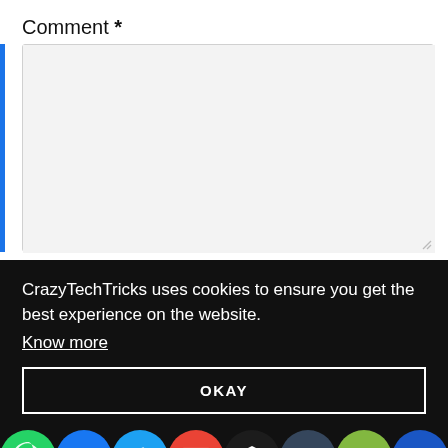Comment *
[Figure (screenshot): Empty comment text area input box with light gray background and resize handle]
CrazyTechTricks uses cookies to ensure you get the best experience on the website.
Know more
OKAY
[Figure (infographic): Social sharing icon bar with WhatsApp, Facebook, Twitter, Gmail, Buffer, Tumblr, Kik, and Crown icons]